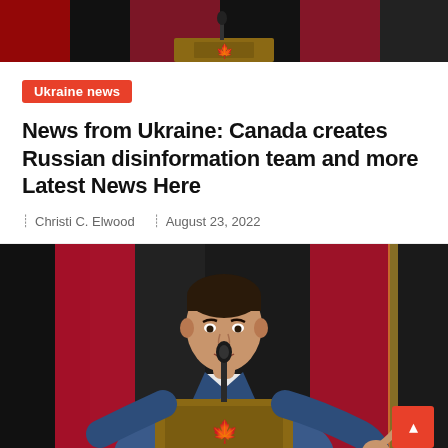[Figure (photo): Top cropped photo of a person at a lectern with Canadian maple leaf emblem, flanked by red and dark flags in background]
Ukraine news
News from Ukraine: Canada creates Russian disinformation team and more Latest News Here
Christi C. Elwood   August 23, 2022
[Figure (photo): Photo of Justin Trudeau in a blue suit with red tie, speaking at a lectern with a Canadian maple leaf emblem, with Canadian and other flags in the background]